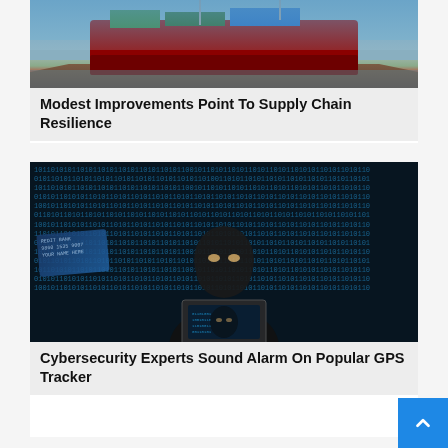[Figure (photo): Photo of a large cargo ship at a port, seen from the side]
Modest Improvements Point To Supply Chain Resilience
[Figure (photo): Photo of a masked hacker in black clothing typing on a laptop with binary code in the background and a credit card visible]
Cybersecurity Experts Sound Alarm On Popular GPS Tracker
[Figure (photo): Photo of a white cloud against a blue sky background with a white electrical outlet panel and a hanging power cord on the right side]